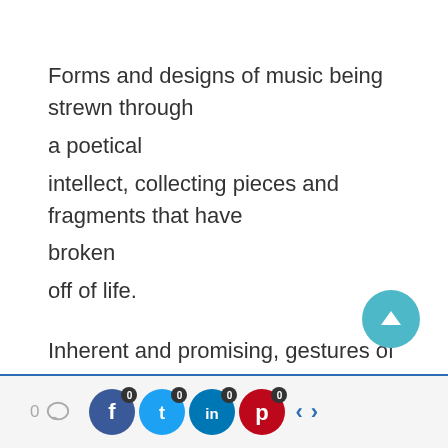Forms and designs of music being strewn through a poetical intellect, collecting pieces and fragments that have broken off of life.
Inherent and promising, gestures of love and romance peeking above edges from friendship, lights being lit interiorly, en-
0 [comment icon] 0 [facebook] 0 [twitter] 0 [linkedin] 0 [pinterest] < >